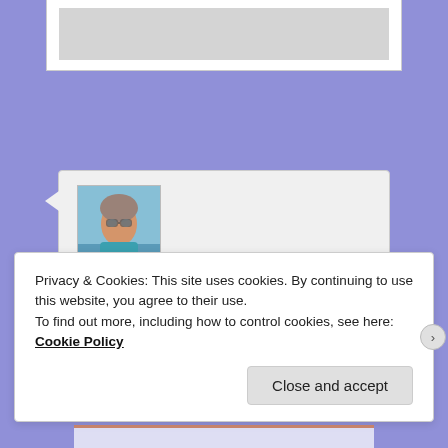[Figure (screenshot): Top partial content card with grey placeholder image area]
[Figure (photo): Profile photo of Cheryl, Gulf Coast Poet - a woman with curly grey hair and sunglasses at a beach]
Cheryl, Gulf Coast Poet on 27 Feb 2021 at 9:27 pm said:
Privacy & Cookies: This site uses cookies. By continuing to use this website, you agree to their use.
To find out more, including how to control cookies, see here: Cookie Policy
Close and accept